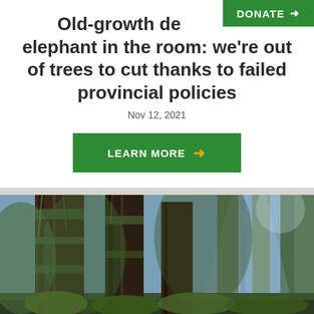Old-growth debate: the elephant in the room: we're out of trees to cut thanks to failed provincial policies
Nov 12, 2021
[Figure (other): Green DONATE button with yellow arrow in top-right corner]
LEARN MORE →
[Figure (photo): Old-growth forest with large moss-covered tree trunks, green moss and ferns, sunlight filtering through tall conifers]